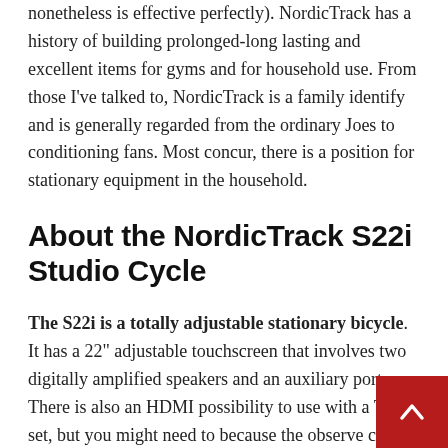nonetheless is effective perfectly). NordicTrack has a history of building prolonged-long lasting and excellent items for gyms and for household use. From those I've talked to, NordicTrack is a family identify and is generally regarded from the ordinary Joes to conditioning fans. Most concur, there is a position for stationary equipment in the household.
About the NordicTrack S22i Studio Cycle
The S22i is a totally adjustable stationary bicycle. It has a 22" adjustable touchscreen that involves two digitally amplified speakers and an auxiliary port. There is also an HDMI possibility to use with a Tv set, but you might need to because the observe can tilt and also rotate degrees.